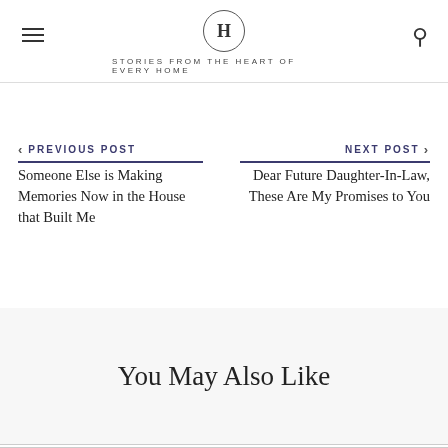H — STORIES FROM THE HEART OF EVERY HOME
< PREVIOUS POST
Someone Else is Making Memories Now in the House that Built Me
NEXT POST >
Dear Future Daughter-In-Law, These Are My Promises to You
You May Also Like